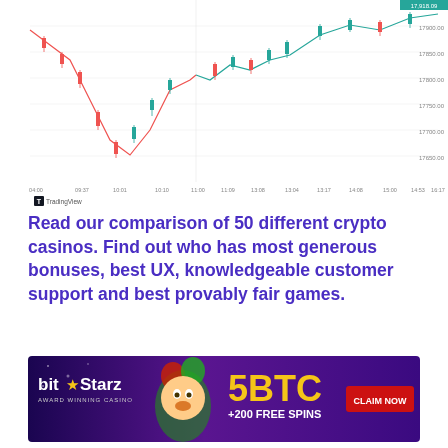[Figure (continuous-plot): Candlestick/line chart of a cryptocurrency price (likely Bitcoin) showing intraday price movements with green and red candles/lines. Y-axis shows price levels from approximately 17250 to 17950. X-axis shows time intervals throughout a trading day.]
Read our comparison of 50 different crypto casinos. Find out who has most generous bonuses, best UX, knowledgeable customer support and best provably fair games.
[Figure (illustration): BitStarz casino advertisement banner. Purple gradient background with jester character. Text: 'bit★Starz AWARD WINNING CASINO' on left, '5BTC +200 FREE SPINS' in center, 'CLAIM NOW' red button on right.]
[Figure (illustration): Tamadoge advertisement. Light blue sky background with trees/hills silhouette. Shows Tamadoge logo (coin with dog face) and Tamadoge text logo. Small dog character on right. Text: 'Tamadoge - The Next MEME Coin to go TO THE MOON!' with yellow 'GO NOW' button. 'ad' label top left, 'x' close button top right.]